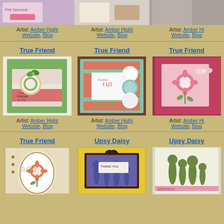[Figure (photo): Top row: three partially visible crafting card photos]
Artist: Amber Hight
Website, Blog
Artist: Amber Hight
Website, Blog
Artist: Amber Hight
Website, Blog
True Friend
True Friend
True Friend
[Figure (photo): Green and pink gift bag card with bow and circular medallion saying 'a true friend']
[Figure (photo): Salmon/teal card with Thank U bracket stamp and circular medallion details]
[Figure (photo): Red/pink card with flower stamp and bow]
Artist: Amber Hight
Website, Blog
Artist: Amber Hight
Website, Blog
Artist: Amber Hight
Website, Blog
True Friend
Upsy Daisy
Upsy Daisy
[Figure (photo): Card with orange flower in oval frame watermarked 'adh']
[Figure (photo): Yellow card with purple panel and Thank You stamp with flower silhouettes]
[Figure (photo): Partially visible birthday card with daisy/floral design]